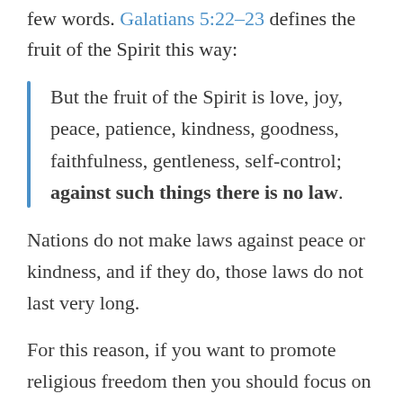few words. Galatians 5:22–23 defines the fruit of the Spirit this way:
But the fruit of the Spirit is love, joy, peace, patience, kindness, goodness, faithfulness, gentleness, self-control; against such things there is no law.
Nations do not make laws against peace or kindness, and if they do, those laws do not last very long.
For this reason, if you want to promote religious freedom then you should focus on producing the fruit of the Spirit. If you live in a way that is loving and joyful and gentle and good, then